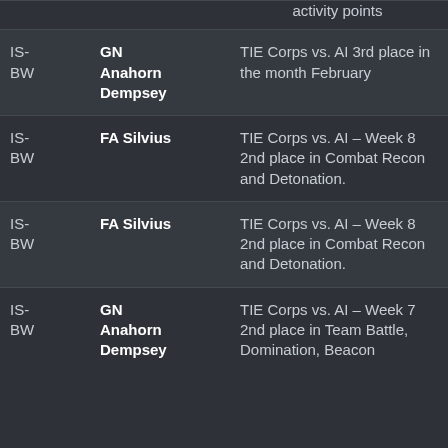| Medal | Name | Description | Date |
| --- | --- | --- | --- |
| IS-BW | GN Anahorn Dempsey | TIE Corps vs. AI 3rd place in the month February | 2016-02-29 |
| IS-BW | FA Silvius | TIE Corps vs. AI – Week 8 2nd place in Combat Recon and Detonation. | 2016-02-29 |
| IS-BW | FA Silvius | TIE Corps vs. AI – Week 8 2nd place in Combat Recon and Detonation. | 2016-02-29 |
| IS-BW | GN Anahorn Dempsey | TIE Corps vs. AI – Week 7 2nd place in Team Battle, Domination, Beacon | 2016-02-21 |